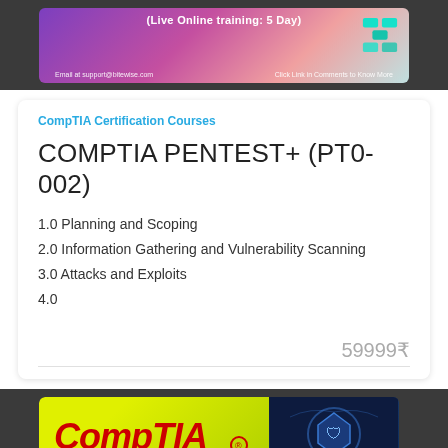[Figure (photo): Top dark banner with colorful training advertisement: Live Online training 5 Day, email and click link in comments]
CompTIA Certification Courses
COMPTIA PENTEST+ (PT0-002)
1.0 Planning and Scoping
2.0 Information Gathering and Vulnerability Scanning
3.0 Attacks and Exploits
4.0
59999₹
[Figure (photo): Bottom dark banner with CompTIA logo on yellow-green background and cybersecurity shield image on dark blue background]